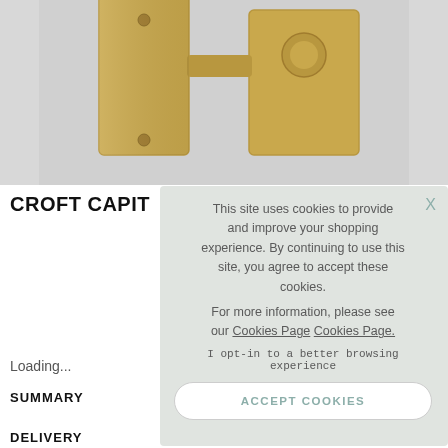[Figure (photo): Product photo of a brass/gold-colored door handle/knob on a rectangular backplate, set against a light gray background. Only the top portion of the hardware is visible.]
CROFT CAPIT
Loading...
SUMMARY
DELIVERY
This site uses cookies to provide and improve your shopping experience. By continuing to use this site, you agree to accept these cookies.
For more information, please see our Cookies Page Cookies Page.
I opt-in to a better browsing experience
ACCEPT COOKIES